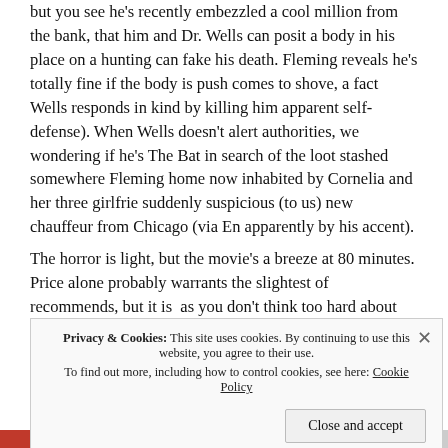but you see he's recently embezzled a cool million from the bank, that him and Dr. Wells can posit a body in his place on a hunting trip can fake his death. Fleming reveals he's totally fine if the body is push comes to shove, a fact Wells responds in kind by killing him (in apparent self-defense). When Wells doesn't alert authorities, we're wondering if he's The Bat in search of the loot stashed somewhere in Fleming home now inhabited by Cornelia and her three girlfriends, and a suddenly suspicious (to us) new chauffeur from Chicago (via England, apparently by his accent).
The horror is light, but the movie's a breeze at 80 minutes. Price alone probably warrants the slightest of recommends, but it is fun as you don't think too hard about the whodunnit plot they try hard to maintain. You solve the mystery quickly and gape at the plot ho...
Privacy & Cookies: This site uses cookies. By continuing to use this website, you agree to their use. To find out more, including how to control cookies, see here: Cookie Policy